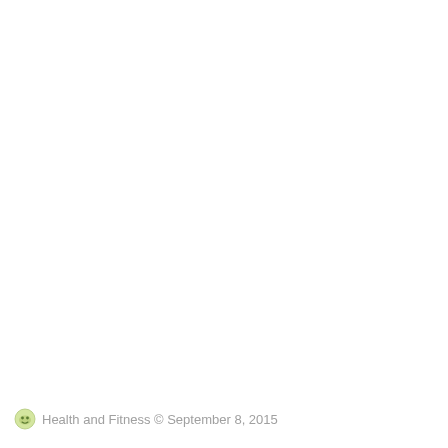Health and Fitness © September 8, 2015